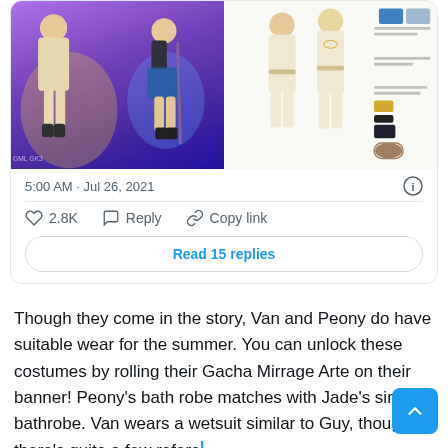[Figure (screenshot): Social media post card showing two anime-style character images side by side. Left image shows two characters in colorful outfits on a purple/blue background. Right image shows character design sheets on white background. Timestamp: 5:00 AM · Jul 26, 2021. Actions: 2.8K likes, Reply, Copy link. Button: Read 15 replies.]
Though they come in the story, Van and Peony do have suitable wear for the summer. You can unlock these costumes by rolling their Gacha Mirrage Arte on their banner! Peony's bath robe matches with Jade's similar bathrobe. Van wears a wetsuit similar to Guy, though there's quite a few refere on the design of his outfit, some more spoilerific than o The developers thankfully graced us with the concept art for